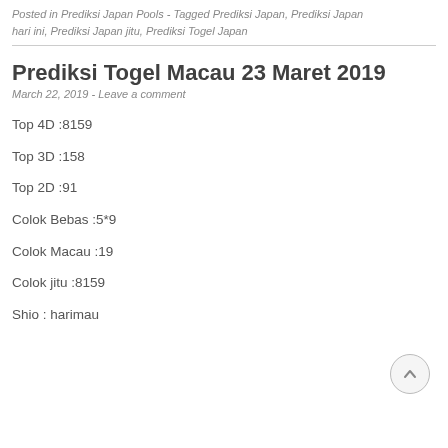Posted in Prediksi Japan Pools - Tagged Prediksi Japan, Prediksi Japan hari ini, Prediksi Japan jitu, Prediksi Togel Japan
Prediksi Togel Macau 23 Maret 2019
March 22, 2019 - Leave a comment
Top 4D :8159
Top 3D :158
Top 2D :91
Colok Bebas :5*9
Colok Macau :19
Colok jitu :8159
Shio : harimau